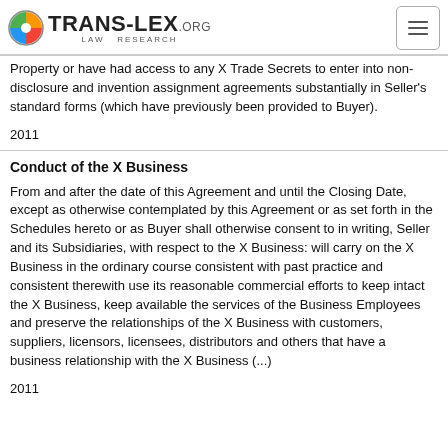TRANS-LEX.ORG LAW RESEARCH
Property or have had access to any X Trade Secrets to enter into non-disclosure and invention assignment agreements substantially in Seller's standard forms (which have previously been provided to Buyer).
2011
Conduct of the X Business
From and after the date of this Agreement and until the Closing Date, except as otherwise contemplated by this Agreement or as set forth in the Schedules hereto or as Buyer shall otherwise consent to in writing, Seller and its Subsidiaries, with respect to the X Business: will carry on the X Business in the ordinary course consistent with past practice and consistent therewith use its reasonable commercial efforts to keep intact the X Business, keep available the services of the Business Employees and preserve the relationships of the X Business with customers, suppliers, licensors, licensees, distributors and others that have a business relationship with the X Business (...)
2011